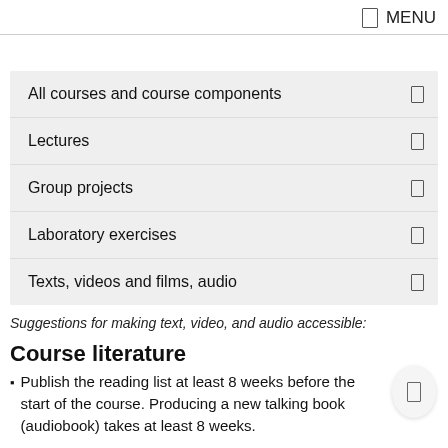MENU
All courses and course components
Lectures
Group projects
Laboratory exercises
Texts, videos and films, audio
Suggestions for making text, video, and audio accessible:
Course literature
Publish the reading list at least 8 weeks before the start of the course. Producing a new talking book (audiobook) takes at least 8 weeks.